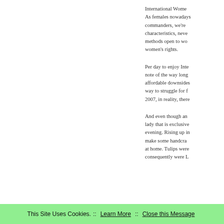International Wome... As females nowadays... commanders, we're... characteristics, neve... methods open to wo... women's rights.
Per day to enjoy Inte... note of the way long... affordable downsides... way to struggle for f... 2007, in reality, there...
And even though an... lady that is exclusive... evening. Rising up in... make some handcra... at home. Tulips were... consequently were L...
This Site Uses Cookies.  ::  Learn More  ::  Close this Message